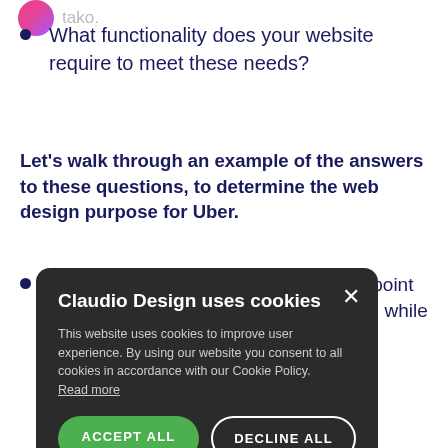What functionality does your website require to meet these needs?
Let's walk through an example of the answers to these questions, to determine the web design purpose for Uber.
As a tech company, Uber's main touchpoint with customers is online. Their website, while also [partially obscured]ion, is primarily [obscured]sign up and use [obscured]ntractors, [obscured]r Uber is nearly [obscured]o the [obscured]C [obscured]e drivers and [obscured]s want to know about the benefits and details of driving for Uber,
Claudio Design uses cookies
This website uses cookies to improve user experience. By using our website you consent to all cookies in accordance with our Cookie Policy.
Read more
ACCEPT ALL   DECLINE ALL
POWERED BY COOKIE-SCRIPT